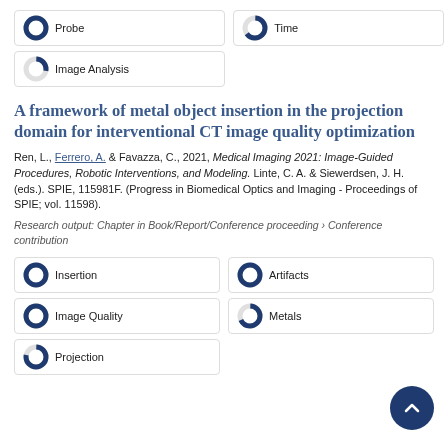[Figure (donut-chart): Probe]
[Figure (donut-chart): Time]
[Figure (donut-chart): Image Analysis]
A framework of metal object insertion in the projection domain for interventional CT image quality optimization
Ren, L., Ferrero, A. & Favazza, C., 2021, Medical Imaging 2021: Image-Guided Procedures, Robotic Interventions, and Modeling. Linte, C. A. & Siewerdsen, J. H. (eds.). SPIE, 115981F. (Progress in Biomedical Optics and Imaging - Proceedings of SPIE; vol. 11598).
Research output: Chapter in Book/Report/Conference proceeding › Conference contribution
[Figure (donut-chart): Insertion]
[Figure (donut-chart): Artifacts]
[Figure (donut-chart): Image Quality]
[Figure (donut-chart): Metals]
[Figure (donut-chart): Projection]